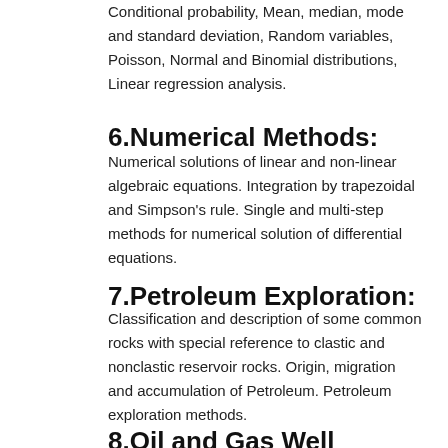Conditional probability, Mean, median, mode and standard deviation, Random variables, Poisson, Normal and Binomial distributions, Linear regression analysis.
6.Numerical Methods:
Numerical solutions of linear and non-linear algebraic equations. Integration by trapezoidal and Simpson's rule. Single and multi-step methods for numerical solution of differential equations.
7.Petroleum Exploration:
Classification and description of some common rocks with special reference to clastic and nonclastic reservoir rocks. Origin, migration and accumulation of Petroleum. Petroleum exploration methods.
8.Oil and Gas Well Drilling Technology:
Well planning, Drilling method, Drilling rigs, Rig